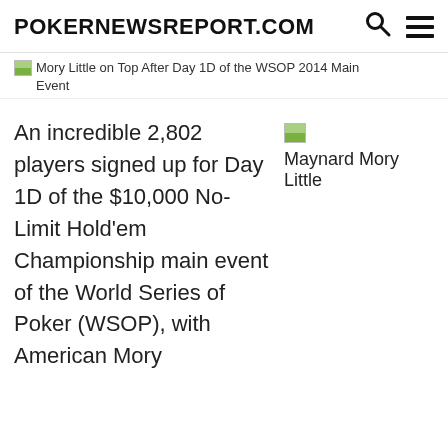POKERNEWSREPORT.COM
Mory Little on Top After Day 1D of the WSOP 2014 Main Event
An incredible 2,802 players signed up for Day 1D of the $10,000 No-Limit Hold’em Championship main event of the World Series of Poker (WSOP), with American Mory
Maynard Mory Little